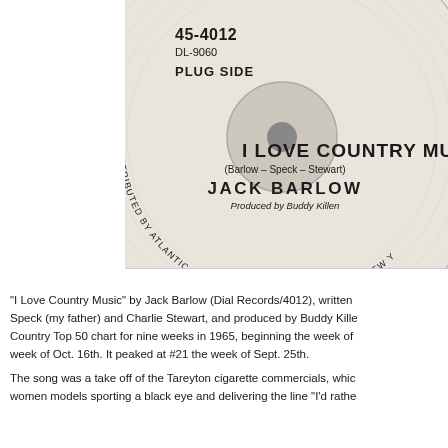[Figure (photo): A vinyl 45 RPM record label for 'I Love Country Music' by Jack Barlow on Dial Records. The label shows catalog number 45-4012, DL-9060, PLUG SIDE, the song title 'I LOVE COUNTRY MUSIC', songwriters (Barlow - Speck - Stewart), artist JACK BARLOW, produced by Buddy Killen, and distributed by Atlantic Record Sales, 1841 Broadway, New York.]
"I Love Country Music" by Jack Barlow (Dial Records/4012), written by Speck (my father) and Charlie Stewart, and produced by Buddy Killen. Country Top 50 chart for nine weeks in 1965, beginning the week of week of Oct. 16th. It peaked at #21 the week of Sept. 25th.
The song was a take off of the Tareyton cigarette commercials, which women models sporting a black eye and delivering the line "I'd rathe